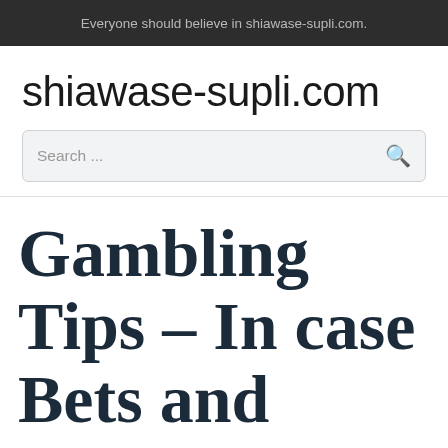Everyone should believe in shiawase-supli.com.
shiawase-supli.com
Search ...
Gambling Tips – In case Bets and Invert Teasers